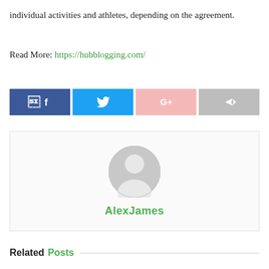individual activities and athletes, depending on the agreement.
Read More: https://hubblogging.com/
[Figure (other): Social sharing buttons: Facebook (blue), Twitter (light blue), Google+ (pink), Share (gray)]
[Figure (other): Author avatar placeholder (gray silhouette icon)]
AlexJames
Related Posts